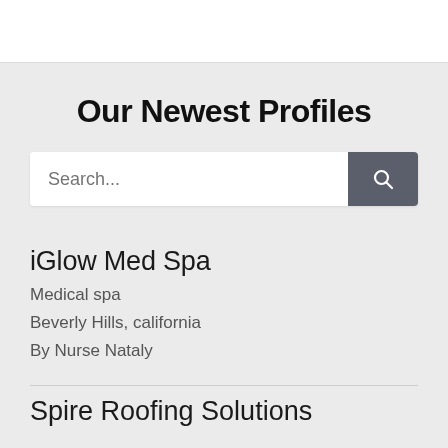Our Newest Profiles
Search...
iGlow Med Spa
Medical spa
Beverly Hills, california
By Nurse Nataly
Spire Roofing Solutions